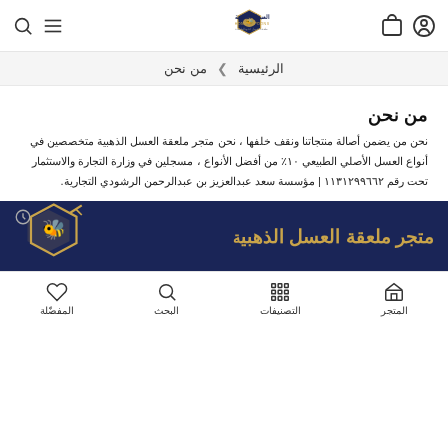[Figure (logo): Header with logo: honeybee hexagon logo with Arabic text متجر ملعقة العسل الذهبية, HONEY SPOONS subtitle, plus cart, profile, search, and menu icons]
الرئيسية ❯ من نحن
من نحن
نحن من يضمن أصالة منتجاتنا ونقف خلفها ، نحن متجر ملعقة العسل الذهبية متخصصين في أنواع العسل الأصلي الطبيعي ١٠٪ من أفضل الأنواع ، مسجلين في وزارة التجارة والاستثمار تحت رقم ١١٣١٢٩٩٦٦٢ | مؤسسة سعد عبدالعزيز بن عبدالرحمن الرشودي التجارية.
[Figure (logo): Dark blue banner with gold Arabic text متجر ملعقة العسل الذهبي and honeybee hexagon logo on right, clock icon on left]
المتجر   التصنيفات   البحث   المفضّلة